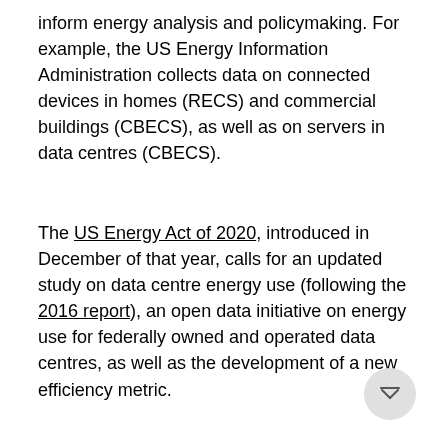inform energy analysis and policymaking. For example, the US Energy Information Administration collects data on connected devices in homes (RECS) and commercial buildings (CBECS), as well as on servers in data centres (CBECS).
The US Energy Act of 2020, introduced in December of that year, calls for an updated study on data centre energy use (following the 2016 report), an open data initiative on energy use for federally owned and operated data centres, as well as the development of a new efficiency metric.